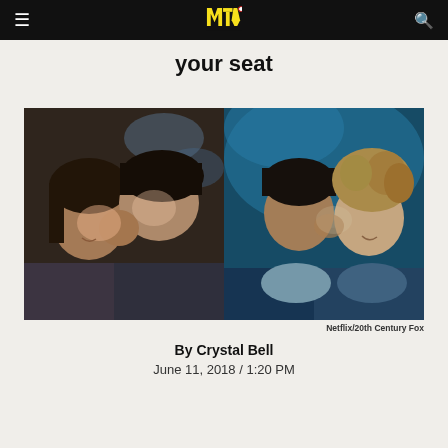MTV navigation bar with hamburger menu, MTV logo, and search icon
your seat
[Figure (photo): Split image: left side shows two young people (teens) in a close, romantic moment with dark hair; right side shows an adult couple in a romantic close-up with blue-teal background. Netflix/20th Century Fox.]
Netflix/20th Century Fox
By Crystal Bell
June 11, 2018 / 1:20 PM